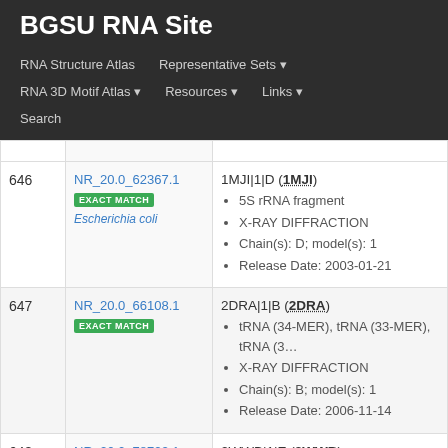BGSU RNA Site
RNA Structure Atlas | Representative Sets ▾ | RNA 3D Motif Atlas ▾ | Resources ▾ | Links ▾ | Search
| # | ID | Info |
| --- | --- | --- |
| 646 | NR_20.0_62367.1
EXACT MATCH
Escherichia coli | 1MJI|1|D (1MJI)
5S rRNA fragment
X-RAY DIFFRACTION
Chain(s): D; model(s): 1
Release Date: 2003-01-21 |
| 647 | NR_20.0_66108.1
EXACT MATCH | 2DRA|1|B (2DRA)
tRNA (34-MER), tRNA (33-MER), tRNA (3...
X-RAY DIFFRACTION
Chain(s): B; model(s): 1
Release Date: 2006-11-14 |
| 648 | NR_20.0_78722.1
EXACT MATCH | 2WWB|1|E (2WWB)
25S RRNA |